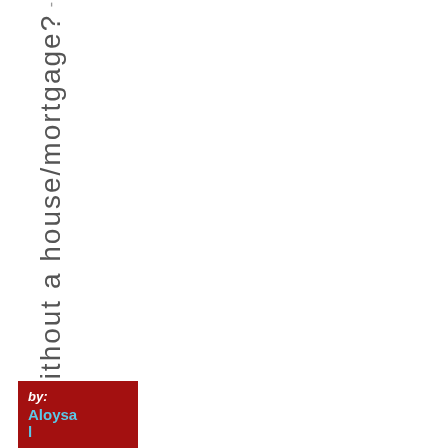n without a house/mortgage?
by: Aloysal